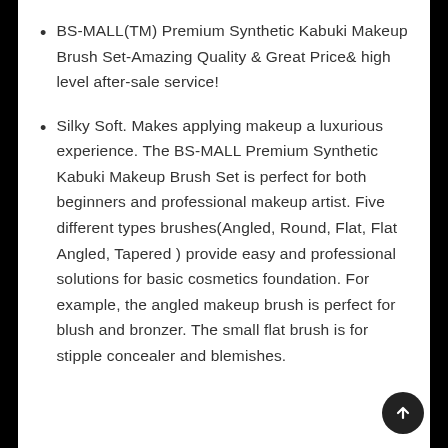BS-MALL(TM) Premium Synthetic Kabuki Makeup Brush Set-Amazing Quality & Great Price& high level after-sale service!
Silky Soft. Makes applying makeup a luxurious experience. The BS-MALL Premium Synthetic Kabuki Makeup Brush Set is perfect for both beginners and professional makeup artist. Five different types brushes(Angled, Round, Flat, Flat Angled, Tapered ) provide easy and professional solutions for basic cosmetics foundation. For example, the angled makeup brush is perfect for blush and bronzer. The small flat brush is for stipple concealer and blemishes.